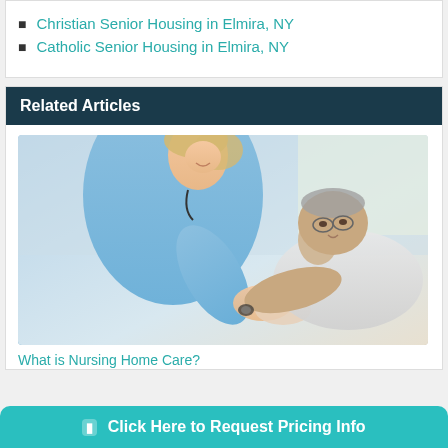Christian Senior Housing in Elmira, NY
Catholic Senior Housing in Elmira, NY
Related Articles
[Figure (photo): A nurse in blue scrubs leaning over and holding the hands of an elderly male patient who is looking up at her]
What is Nursing Home Care?
Click Here to Request Pricing Info